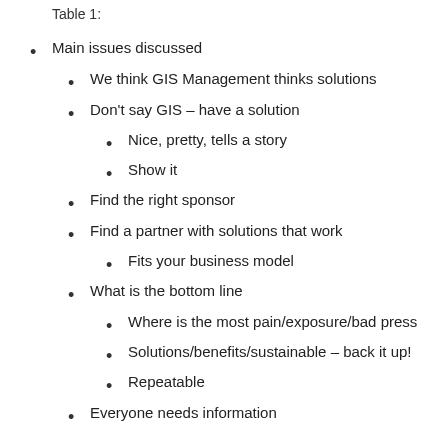Table 1:
Main issues discussed
We think GIS Management thinks solutions
Don't say GIS – have a solution
Nice, pretty, tells a story
Show it
Find the right sponsor
Find a partner with solutions that work
Fits your business model
What is the bottom line
Where is the most pain/exposure/bad press
Solutions/benefits/sustainable – back it up!
Repeatable
Everyone needs information